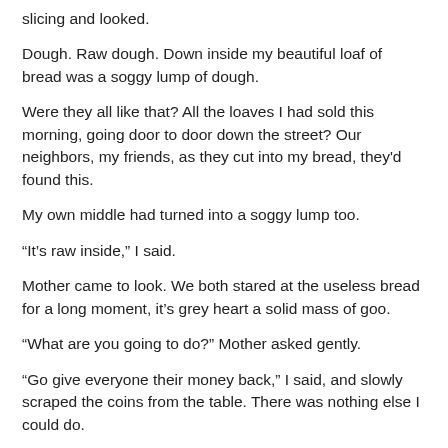slicing and looked.
Dough. Raw dough. Down inside my beautiful loaf of bread was a soggy lump of dough.
Were they all like that? All the loaves I had sold this morning, going door to door down the street? Our neighbors, my friends, as they cut into my bread, they'd found this.
My own middle had turned into a soggy lump too.
“It’s raw inside,” I said.
Mother came to look. We both stared at the useless bread for a long moment, it’s grey heart a solid mass of goo.
“What are you going to do?” Mother asked gently.
“Go give everyone their money back,” I said, and slowly scraped the coins from the table. There was nothing else I could do.